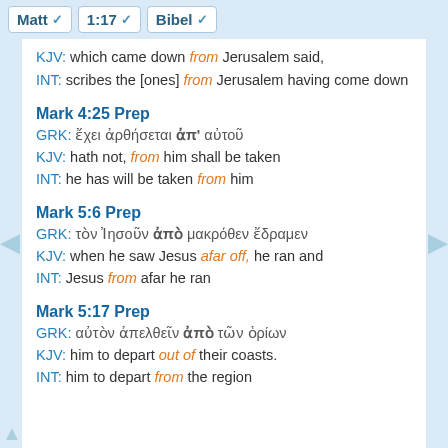Matt   1:17   Bibel
KJV: which came down from Jerusalem said,
INT: scribes the [ones] from Jerusalem having come down
Mark 4:25 Prep
GRK: ἔχει ἀρθήσεται ἀπ' αὐτοῦ
KJV: hath not, from him shall be taken
INT: he has will be taken from him
Mark 5:6 Prep
GRK: τὸν Ἰησοῦν ἀπὸ μακρόθεν ἔδραμεν
KJV: when he saw Jesus afar off, he ran and
INT: Jesus from afar he ran
Mark 5:17 Prep
GRK: αὐτὸν ἀπελθεῖν ἀπὸ τῶν ὁρίων
KJV: him to depart out of their coasts.
INT: him to depart from the region